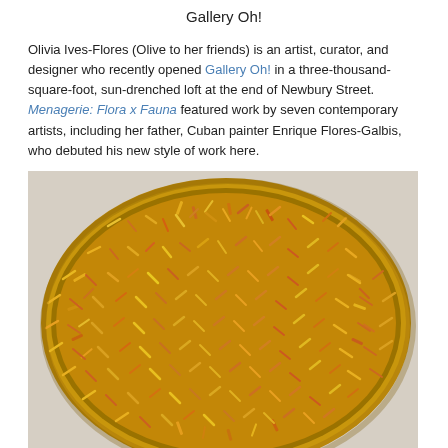Gallery Oh!
Olivia Ives-Flores (Olive to her friends) is an artist, curator, and designer who recently opened Gallery Oh! in a three-thousand-square-foot, sun-drenched loft at the end of Newbury Street. Menagerie: Flora x Fauna featured work by seven contemporary artists, including her father, Cuban painter Enrique Flores-Galbis, who debuted his new style of work here.
[Figure (photo): Overhead close-up photograph of a large circular arrangement of dried saffron threads or similar small elongated botanical fragments in shades of yellow, orange, red, and dark brown, set against a light concrete surface.]